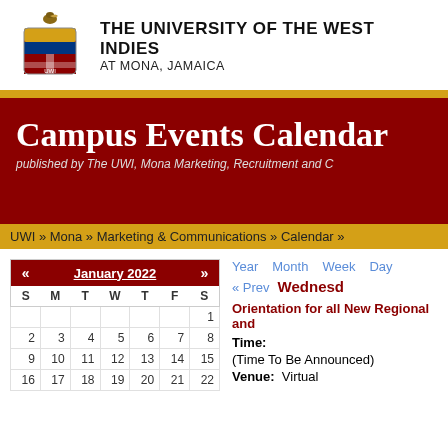[Figure (logo): University of the West Indies crest/coat of arms with pelican on top]
THE UNIVERSITY OF THE WEST INDIES
AT MONA, JAMAICA
Campus Events Calendar
published by The UWI, Mona Marketing, Recruitment and C
UWI » Mona » Marketing & Communications » Calendar »
| « | January 2022 | » | S | M | T | W | T | F | S |
| --- | --- | --- | --- | --- | --- | --- | --- | --- | --- |
|  |  |  |  |  |  | 1 |
| 2 | 3 | 4 | 5 | 6 | 7 | 8 |
| 9 | 10 | 11 | 12 | 13 | 14 | 15 |
| 16 | 17 | 18 | 19 | 20 | 21 | 22 |
Year   Month   Week   Day
« Prev   Wednesday
Orientation for all New Regional and
Time:
(Time To Be Announced)
Venue:  Virtual